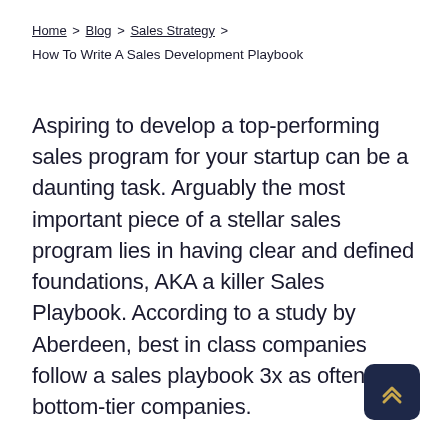Home > Blog > Sales Strategy >
How To Write A Sales Development Playbook
Aspiring to develop a top-performing sales program for your startup can be a daunting task. Arguably the most important piece of a stellar sales program lies in having clear and defined foundations, AKA a killer Sales Playbook. According to a study by Aberdeen, best in class companies follow a sales playbook 3x as often as bottom-tier companies.
[Figure (other): Scroll-to-top button with double chevron up arrow icon on dark navy background]